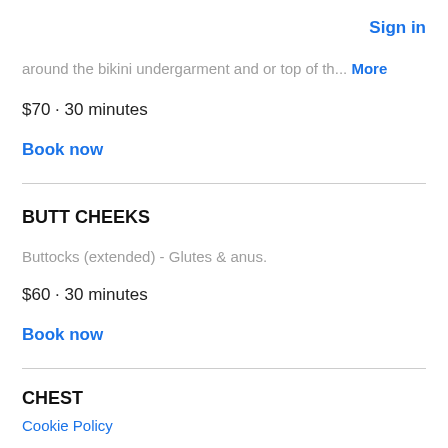Sign in
around the bikini undergarment and or top of th... More
$70 · 30 minutes
Book now
BUTT CHEEKS
Buttocks (extended) - Glutes & anus.
$60 · 30 minutes
Book now
CHEST
Cookie Policy